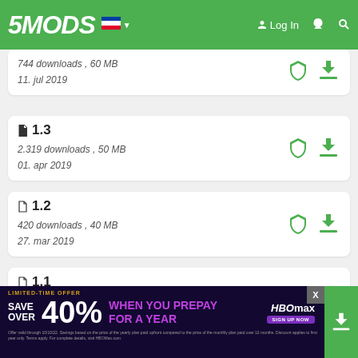5MODS — Log In
744 downloads , 60 MB
11. jul 2019
1.3
2.319 downloads , 50 MB
01. apr 2019
1.2
420 downloads , 40 MB
27. mar 2019
1.1
758 downloads , 40 MB
26. dec 2018
1.0
124 downloads
[Figure (screenshot): HBO Max advertisement banner: LIMITED-TIME OFFER — SAVE OVER 40% WHEN YOU PREPAY FOR A YEAR. HBOmax sign up now button. Fine print disclaimer text.]